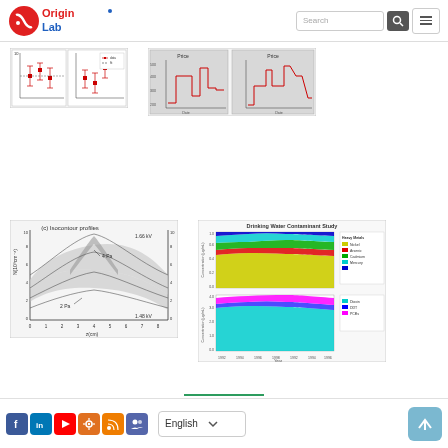[Figure (logo): OriginLab logo with red circle design]
[Figure (screenshot): Search bar and navigation menu buttons]
[Figure (continuous-plot): Small scientific chart with error bars, two panels side by side]
[Figure (continuous-plot): Two step-function/bar chart panels showing price or data over dates with red step lines on gray background]
[Figure (continuous-plot): Isocontour profiles chart labeled (c) showing curves at 1.66 kV and 1.48 kV with 4 Pa and 2 Pa labels, x-axis z(cm)]
[Figure (area-chart): Drinking Water Contaminant Study - two stacked area charts over years 1992-1996, top chart shows Heavy Metals, Nickel, Arsenic, Cadmium, Mercury; bottom chart shows Dioxin, DDT, PCBs]
[Figure (logo): Social media icons: Facebook, LinkedIn, YouTube, settings/gear, RSS, group icon]
[Figure (screenshot): Language selector dropdown showing English with chevron]
[Figure (screenshot): Scroll to top button, blue-grey rounded square with up arrow]